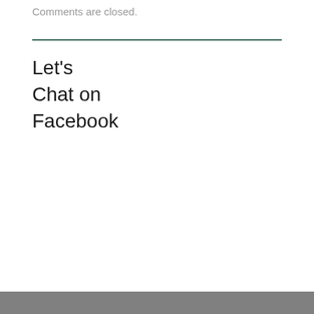Comments are closed.
Let's
Chat on
Facebook